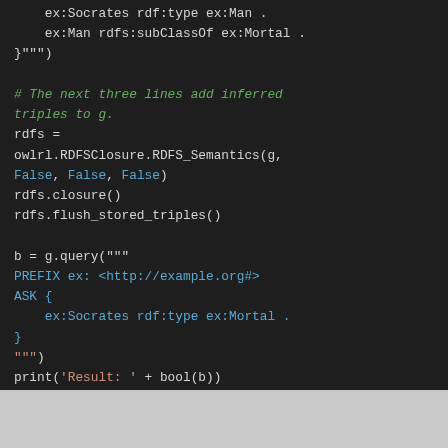[Figure (screenshot): Dark-themed code editor screenshot showing Python code using rdflib and owlrl. Code includes string literal with RDF triples, a comment about adding inferred triples, RDFS closure call, and a SPARQL ASK query.]